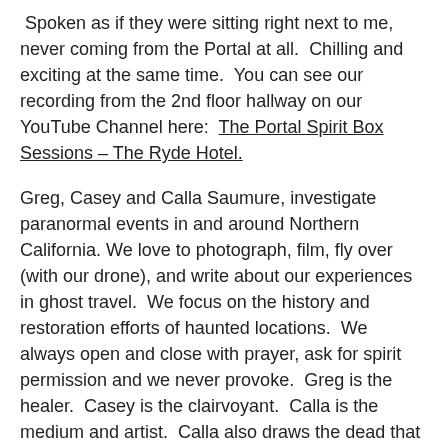Spoken as if they were sitting right next to me, never coming from the Portal at all.  Chilling and exciting at the same time.  You can see our recording from the 2nd floor hallway on our YouTube Channel here:  The Portal Spirit Box Sessions – The Ryde Hotel.
Greg, Casey and Calla Saumure, investigate paranormal events in and around Northern California. We love to photograph, film, fly over (with our drone), and write about our experiences in ghost travel.  We focus on the history and restoration efforts of haunted locations.  We always open and close with prayer, ask for spirit permission and we never provoke.  Greg is the healer.  Casey is the clairvoyant.  Calla is the medium and artist.  Calla also draws the dead that she speaks with.   "We do this as a family, and we do it in light."  You can reach Casey at ruedelamort@gmail.com.